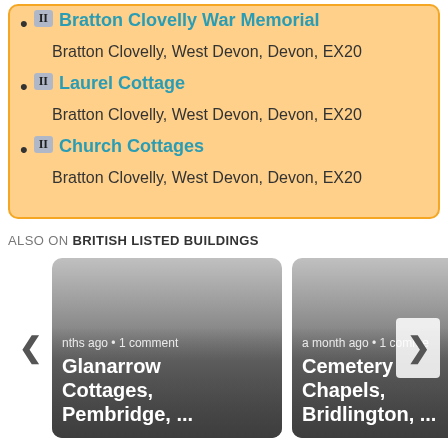II Bratton Clovelly War Memorial
Bratton Clovelly, West Devon, Devon, EX20
II Laurel Cottage
Bratton Clovelly, West Devon, Devon, EX20
II Church Cottages
Bratton Clovelly, West Devon, Devon, EX20
ALSO ON BRITISH LISTED BUILDINGS
[Figure (screenshot): Two cards side by side showing linked building entries. Left card: 'nths ago • 1 comment' / 'Glanarrow Cottages, Pembridge, ...' Right card: 'a month ago • 1 comment' / 'Cemetery Chapels, Bridlington, ...' Navigation arrows on left and right.]